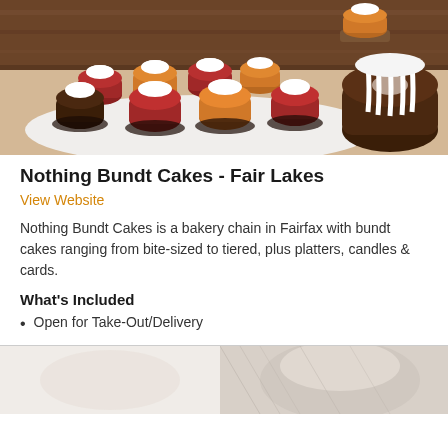[Figure (photo): Photo of colorful bundt mini cakes with white frosting on a plate, and a larger chocolate bundt cake with white striped frosting on the right]
Nothing Bundt Cakes - Fair Lakes
View Website
Nothing Bundt Cakes is a bakery chain in Fairfax with bundt cakes ranging from bite-sized to tiered, plus platters, candles & cards.
What's Included
Open for Take-Out/Delivery
[Figure (photo): Partial photo of what appears to be a white cake or dessert display, partially visible at the bottom of the page]